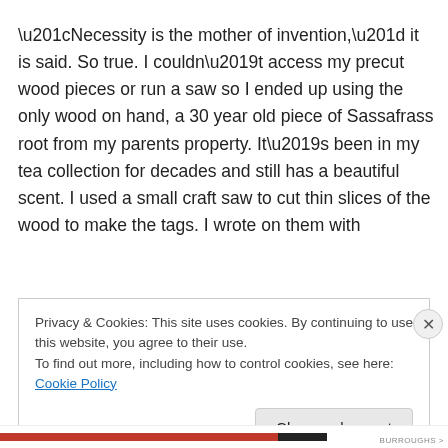“Necessity is the mother of invention,” it is said. So true. I couldn’t access my precut wood pieces or run a saw so I ended up using the only wood on hand, a 30 year old piece of Sassafrass root from my parents property. It’s been in my tea collection for decades and still has a beautiful scent. I used a small craft saw to cut thin slices of the wood to make the tags. I wrote on them with
Privacy & Cookies: This site uses cookies. By continuing to use this website, you agree to their use.
To find out more, including how to control cookies, see here: Cookie Policy
Close and accept